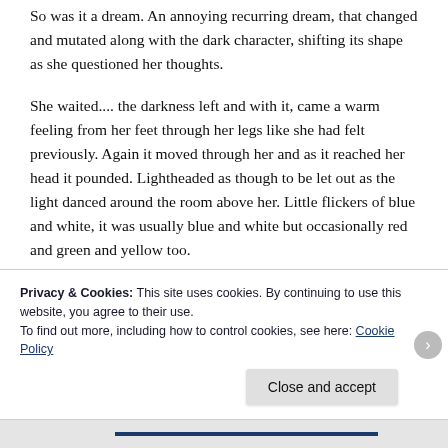So was it a dream. An annoying recurring dream, that changed and mutated along with the dark character, shifting its shape as she questioned her thoughts.
She waited.... the darkness left and with it, came a warm feeling from her feet through her legs like she had felt previously. Again it moved through her and as it reached her head it pounded. Lightheaded as though to be let out as the light danced around the room above her. Little flickers of blue and white, it was usually blue and white but occasionally red and green and yellow too.
Privacy & Cookies: This site uses cookies. By continuing to use this website, you agree to their use.
To find out more, including how to control cookies, see here: Cookie Policy